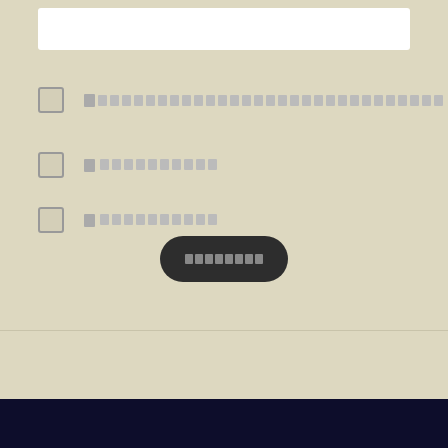[Figure (screenshot): White input text box at top of form]
[checkbox] [redacted text block - long line]
[checkbox] [redacted text block - short]
[checkbox] [redacted text block - short]
[Figure (other): Dark rounded submit button with redacted label text]
[redacted footer links] [scroll to top button]